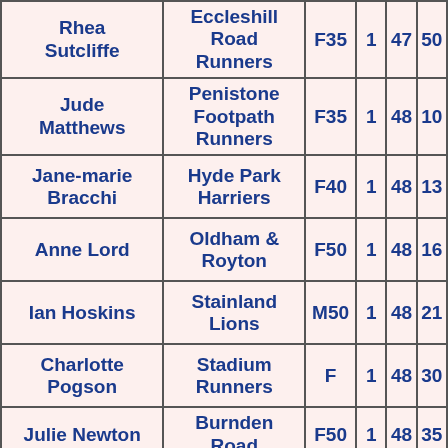| Name | Club | Cat |  |  |  |
| --- | --- | --- | --- | --- | --- |
| Rhea Sutcliffe | Eccleshill Road Runners | F35 | 1 | 47 | 50 |
| Jude Matthews | Penistone Footpath Runners | F35 | 1 | 48 | 10 |
| Jane-marie Bracchi | Hyde Park Harriers | F40 | 1 | 48 | 13 |
| Anne Lord | Oldham & Royton | F50 | 1 | 48 | 16 |
| Ian Hoskins | Stainland Lions | M50 | 1 | 48 | 21 |
| Charlotte Pogson | Stadium Runners | F | 1 | 48 | 30 |
| Julie Newton | Burnden Road | F50 | 1 | 48 | 35 |